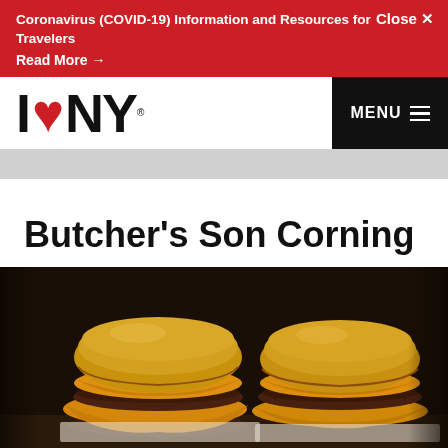Coronavirus (COVID-19) Information and Resources for Travelers
Read More →
Close ✕
[Figure (logo): I Love NY logo with red heart]
Butcher's Son Corning
[Figure (photo): Two cheeseburgers with melted yellow cheese on brioche buns, close-up food photo on dark background]